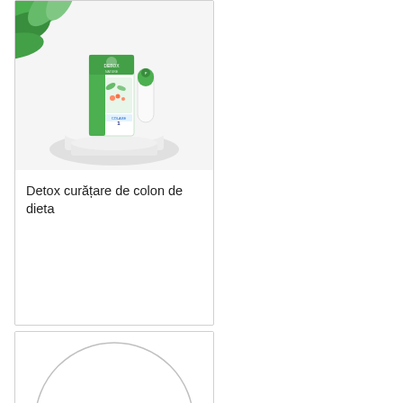[Figure (photo): Product photo of Detox colon cleanse diet supplement box with green packaging, placed on white circular platform with tropical plant leaves in background]
Detox curățare de colon de dieta
[Figure (photo): Partially visible circular placeholder/product image at bottom of page]